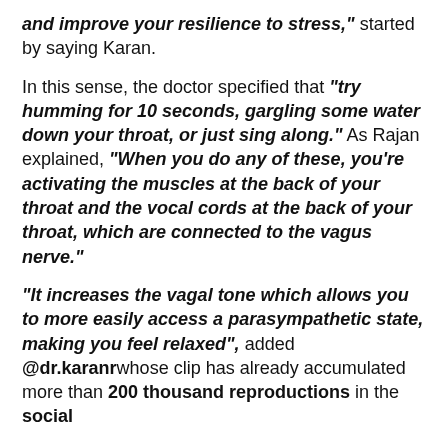and improve your resilience to stress," started by saying Karan.
In this sense, the doctor specified that "try humming for 10 seconds, gargling some water down your throat, or just sing along." As Rajan explained, "When you do any of these, you're activating the muscles at the back of your throat and the vocal cords at the back of your throat, which are connected to the vagus nerve."
"It increases the vagal tone which allows you to more easily access a parasympathetic state, making you feel relaxed", added @dr.karanr whose clip has already accumulated more than 200 thousand reproductions in the social